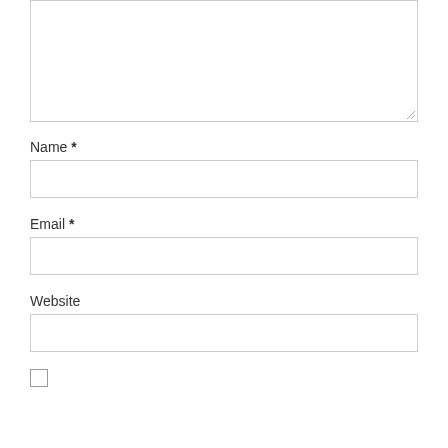[Figure (screenshot): A textarea form field (empty, resizable) at the top of the page]
Name *
[Figure (screenshot): An empty text input field for Name]
Email *
[Figure (screenshot): An empty text input field for Email]
Website
[Figure (screenshot): An empty text input field for Website]
[Figure (screenshot): An unchecked checkbox]